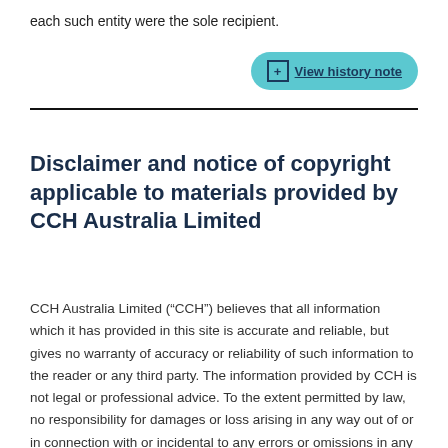each such entity were the sole recipient.
[Figure (other): View history note button — a teal/cyan rounded pill-shaped button with a plus icon and the text 'View history note']
Disclaimer and notice of copyright applicable to materials provided by CCH Australia Limited
CCH Australia Limited (“CCH”) believes that all information which it has provided in this site is accurate and reliable, but gives no warranty of accuracy or reliability of such information to the reader or any third party. The information provided by CCH is not legal or professional advice. To the extent permitted by law, no responsibility for damages or loss arising in any way out of or in connection with or incidental to any errors or omissions in any information provided is accepted by CCH or by persons involved in the preparation and